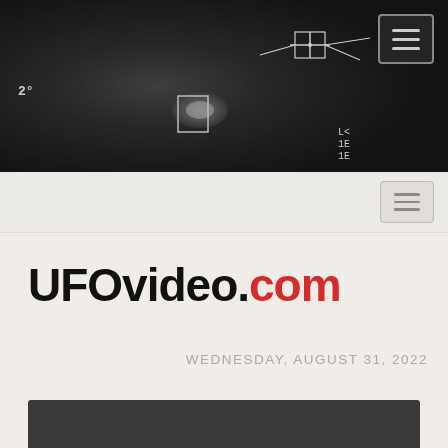[Figure (photo): Dark military infrared/thermal camera HUD footage showing a blurry object in the sky with targeting crosshairs and HUD overlays showing '2°' and coordinate data]
[Figure (other): Navigation bar with hamburger menu icon on light beige background]
UFOvideo.com
WEDNESDAY, AUGUST 31, 2022
[Figure (screenshot): Dark gray panel at bottom of page, partial view of next content section]